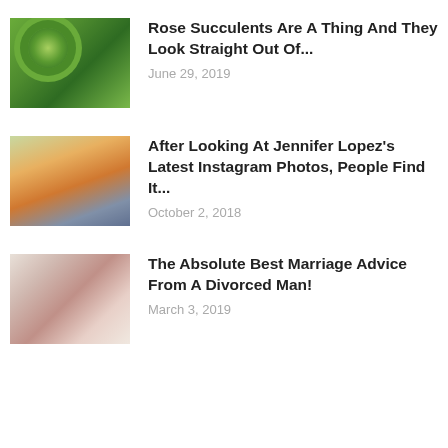[Figure (photo): Thumbnail image of rose-shaped succulents, green rosette and green succulent plants]
Rose Succulents Are A Thing And They Look Straight Out Of...
June 29, 2019
[Figure (photo): Thumbnail image of woman in orange outfit posing outdoors, trees in background]
After Looking At Jennifer Lopez's Latest Instagram Photos, People Find It...
October 2, 2018
[Figure (photo): Thumbnail image of romantic couple, soft warm tones, man in white shirt and woman in red]
The Absolute Best Marriage Advice From A Divorced Man!
March 3, 2019